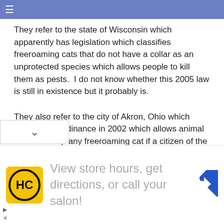≡
They refer to the state of Wisconsin which apparently has legislation which classifies freeroaming cats that do not have a collar as an unprotected species which allows people to kill them as pests.  I do not know whether this 2005 law is still in existence but it probably is.
They also refer to the city of Akron, Ohio which adopted an ordinance in 2002 which allows animal control to trap any freeroaming cat if a citizen of the city complains about the cat. There are probably other cities which similar laws.
There are also probably other cities or counties which have introduced ordinances which either restrict the activities of or cats or which in effect confines them to the home
[Figure (other): Advertisement banner: HC logo with text 'View store hours, get directions, or call your salon!' and a blue navigation arrow icon]